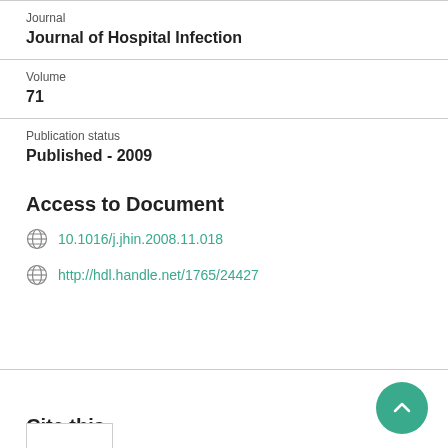Journal
Journal of Hospital Infection
Volume
71
Publication status
Published - 2009
Access to Document
10.1016/j.jhin.2008.11.018
http://hdl.handle.net/1765/24427
Cite this